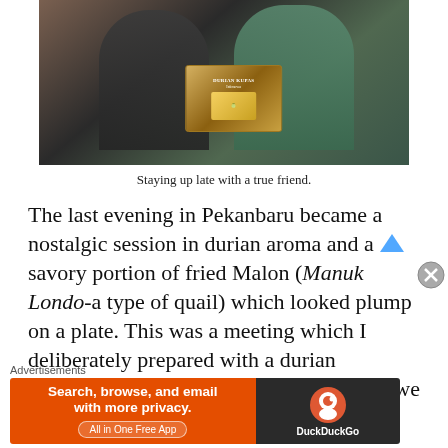[Figure (photo): Two men smiling and holding up a box of Durian Kupas product toward the camera, sitting in what appears to be a restaurant or cafe.]
Staying up late with a true friend.
The last evening in Pekanbaru became a nostalgic session in durian aroma and a savory portion of fried Malon (Manuk Londo-a type of quail) which looked plump on a plate. This was a meeting which I deliberately prepared with a durian businessman that I didn't know how long we didn't meet, before leaving Pekanbaru.
Advertisements
[Figure (screenshot): DuckDuckGo advertisement banner: orange background on left with text 'Search, browse, and email with more privacy. All in One Free App' and DuckDuckGo logo on dark right panel.]